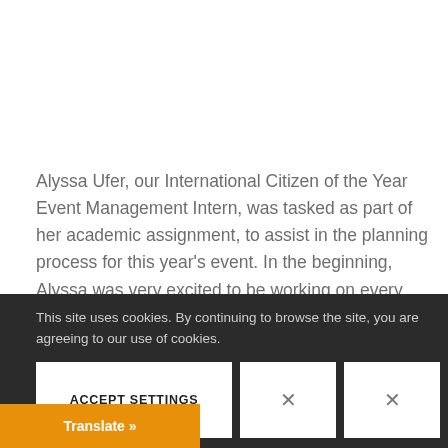Alyssa Ufer, our International Citizen of the Year Event Management Intern, was tasked as part of her academic assignment, to assist in the planning process for this year's event. In the beginning, Alyssa was very excited to be working on every aspect of this major fundraising event. As the weeks invitation lists agreeing to our use of cookies. gen, whe
This site uses cookies. By continuing to browse the site, you are agreeing to our use of cookies.
ACCEPT SETTINGS
Translate »